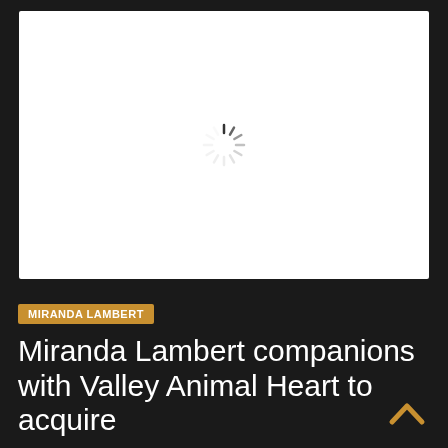[Figure (other): Loading spinner icon (gray radial lines forming a circle) centered on a white rectangle background]
MIRANDA LAMBERT
Miranda Lambert companions with Valley Animal Heart to acquire